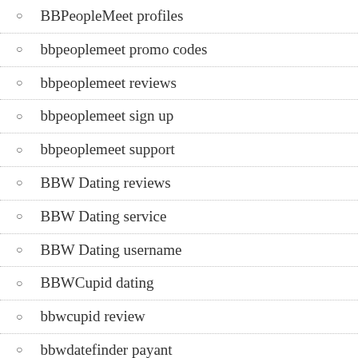BBPeopleMeet profiles
bbpeoplemeet promo codes
bbpeoplemeet reviews
bbpeoplemeet sign up
bbpeoplemeet support
BBW Dating reviews
BBW Dating service
BBW Dating username
BBWCupid dating
bbwcupid review
bbwdatefinder payant
BBWDateFinder visitors